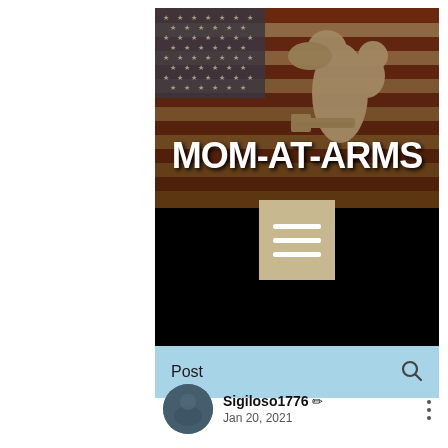[Figure (screenshot): Screenshot of the Mom-At-Arms website showing a banner with an American flag background with a silhouette of a mother holding a child, bold white text reading MOM-AT-ARMS, a tan menu icon block, a black lower section, and a light blue navigation bar with Post label and search icon.]
Post
Sigiloso1776 ✏ Jan 20, 2021